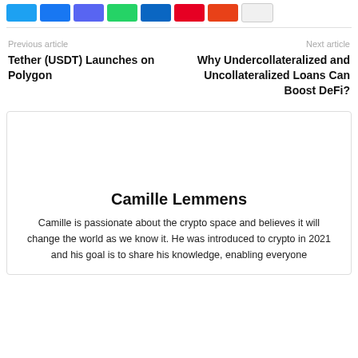[Figure (other): Row of social share buttons: Twitter (blue), Facebook (blue), Reddit (purple), WhatsApp (green), LinkedIn (dark blue), Pinterest (red), Email (orange-red), and a blank/share button]
Previous article
Next article
Tether (USDT) Launches on Polygon
Why Undercollateralized and Uncollateralized Loans Can Boost DeFi?
[Figure (photo): Author photo placeholder area for Camille Lemmens]
Camille Lemmens
Camille is passionate about the crypto space and believes it will change the world as we know it. He was introduced to crypto in 2021 and his goal is to share his knowledge, enabling everyone